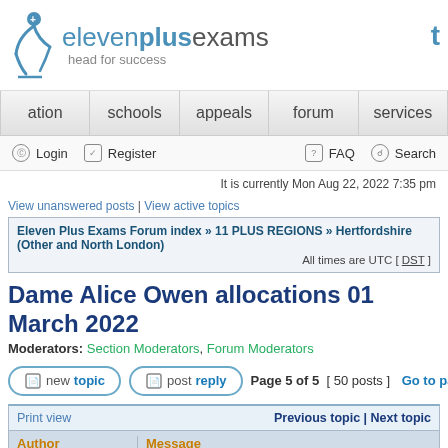[Figure (logo): Eleven Plus Exams logo with figure icon and tagline 'head for success']
Navigation: ation | schools | appeals | forum | services
Login | Register | FAQ | Search
It is currently Mon Aug 22, 2022 7:35 pm
View unanswered posts | View active topics
Eleven Plus Exams Forum index » 11 PLUS REGIONS » Hertfordshire (Other and North London)
All times are UTC [ DST ]
Dame Alice Owen allocations 01 March 2022
Moderators: Section Moderators, Forum Moderators
Page 5 of 5  [ 50 posts ]  Go to page Prev
| Author | Message |
| --- | --- |